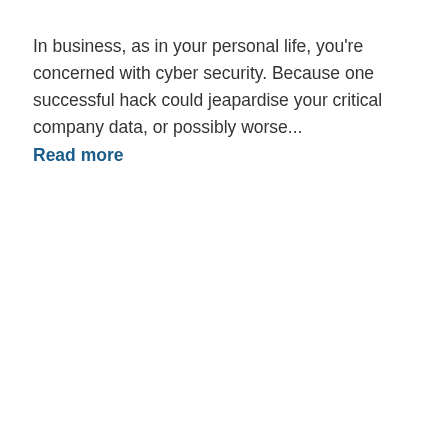In business, as in your personal life, you're concerned with cyber security. Because one successful hack could jeapardise your critical company data, or possibly worse... Read more